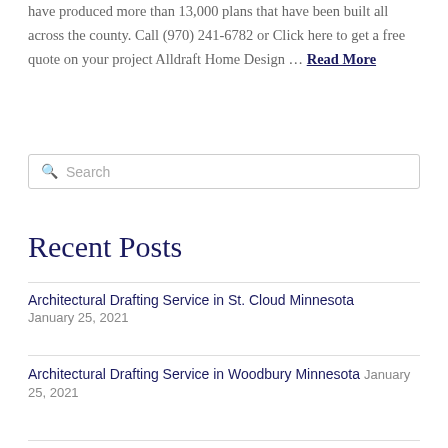have produced more than 13,000 plans that have been built all across the county. Call (970) 241-6782 or Click here to get a free quote on your project Alldraft Home Design ... Read More
Search
Recent Posts
Architectural Drafting Service in St. Cloud Minnesota January 25, 2021
Architectural Drafting Service in Woodbury Minnesota January 25, 2021